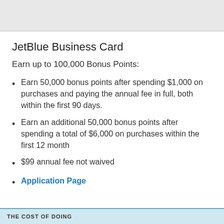[Figure (other): Gray header image/banner at top of page]
JetBlue Business Card
Earn up to 100,000 Bonus Points:
Earn 50,000 bonus points after spending $1,000 on purchases and paying the annual fee in full, both within the first 90 days.
Earn an additional 50,000 bonus points after spending a total of $6,000 on purchases within the first 12 month
$99 annual fee not waived
Application Page
THE COST OF DOING…